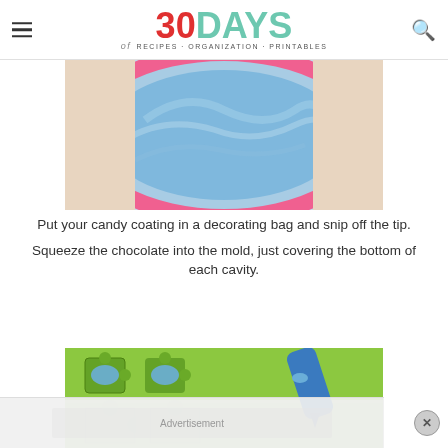30 DAYS of RECIPES · ORGANIZATION · PRINTABLES
[Figure (photo): Top-down view of a pink bowl filled with blue candy coating/melted chocolate]
Put your candy coating in a decorating bag and snip off the tip.
Squeeze the chocolate into the mold, just covering the bottom of each cavity.
[Figure (photo): Green silicone puzzle-piece mold with blue piping bag squeezing blue candy coating into the cavities]